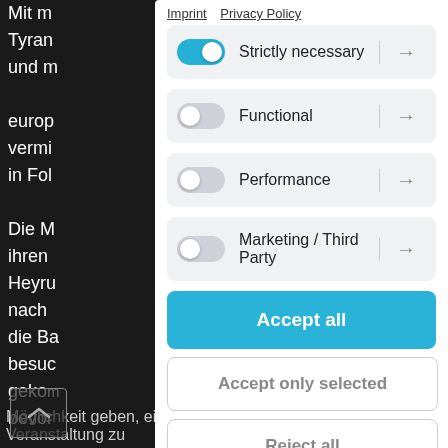Mit m Tyran und m europ vermi in Fol Die M ihren Heyru nach die Ba besuc gekom bevor Möglichkeit geben, eine Veranstaltung zu
Imprint   Privacy Policy
Strictly necessary →
Functional →
Performance →
Marketing / Third Party →
Accept all
Accept only selected
Reject all